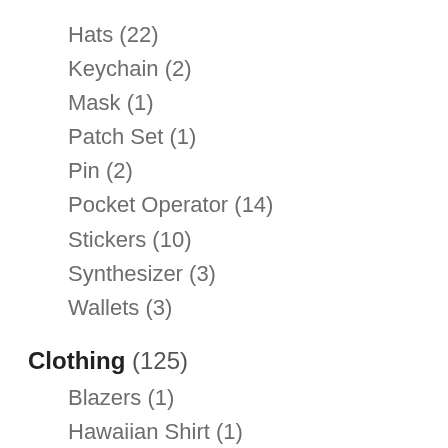Hats (22)
Keychain (2)
Mask (1)
Patch Set (1)
Pin (2)
Pocket Operator (14)
Stickers (10)
Synthesizer (3)
Wallets (3)
Clothing (125)
Blazers (1)
Hawaiian Shirt (1)
Hoodie (10)